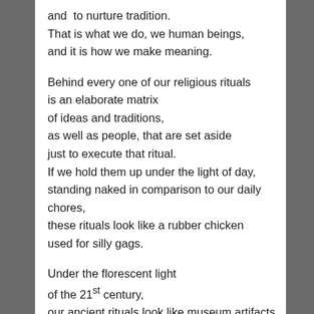and to nurture tradition.
That is what we do, we human beings,
and it is how we make meaning.
Behind every one of our religious rituals
is an elaborate matrix
of ideas and traditions,
as well as people, that are set aside
just to execute that ritual.
If we hold them up under the light of day,
standing naked in comparison to our daily chores,
these rituals look like a rubber chicken
used for silly gags.
Under the florescent light
of the 21st century,
our ancient rituals look like museum artifacts